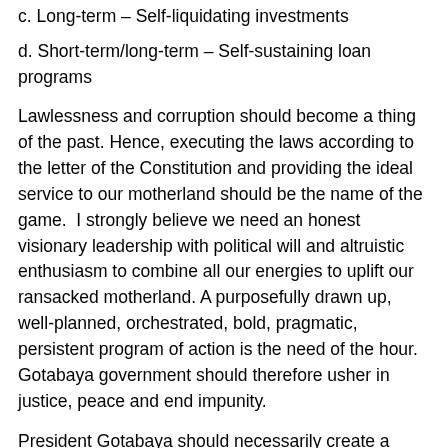c. Long-term – Self-liquidating investments
d. Short-term/long-term – Self-sustaining loan programs
Lawlessness and corruption should become a thing of the past. Hence, executing the laws according to the letter of the Constitution and providing the ideal service to our motherland should be the name of the game.  I strongly believe we need an honest visionary leadership with political will and altruistic enthusiasm to combine all our energies to uplift our ransacked motherland. A purposefully drawn up, well-planned, orchestrated, bold, pragmatic, persistent program of action is the need of the hour. Gotabaya government should therefore usher in justice, peace and end impunity.
President Gotabaya should necessarily create a meaningful, efficient, effective ethical political network to restrain the abuse of power, and produce socioeconomic